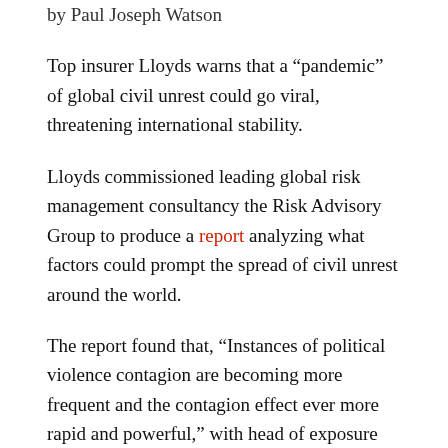by Paul Joseph Watson
Top insurer Lloyds warns that a “pandemic” of global civil unrest could go viral, threatening international stability.
Lloyds commissioned leading global risk management consultancy the Risk Advisory Group to produce a report analyzing what factors could prompt the spread of civil unrest around the world.
The report found that, “Instances of political violence contagion are becoming more frequent and the contagion effect ever more rapid and powerful,” with head of exposure management and reinsurance, Trevor Maynard, warning that global outbreaks of violence are increasingly likely to develop into “pandemics” of civil unrest.